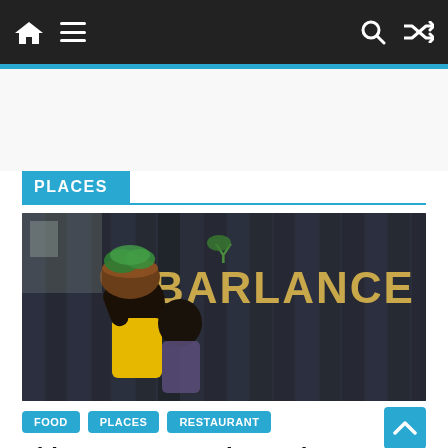Navigation bar with home, menu, search, and shuffle icons
PLACES
[Figure (photo): A person wearing a yellow top carrying a large brown pot with green plants on their head, standing in front of a dark wooden wall with the text BARLANCE in gold letters]
FOOD
PLACES
RESTAURANT
Things To Do At The Barlance Abuja